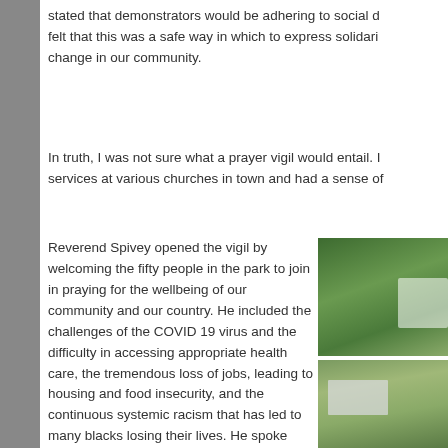stated that demonstrators would be adhering to social d felt that this was a safe way in which to express solidari change in our community.
In truth, I was not sure what a prayer vigil would entail. services at various churches in town and had a sense of
Reverend Spivey opened the vigil by welcoming the fifty people in the park to join in praying for the wellbeing of our community and our country. He included the challenges of the COVID 19 virus and the difficulty in accessing appropriate health care, the tremendous loss of jobs, leading to housing and food insecurity, and the continuous systemic racism that has led to many blacks losing their lives. He spoke about how his faith helped him view these challenges in
[Figure (photo): Two outdoor photos stacked: top shows green foliage/bushes with a white bag or object visible; bottom shows green outdoor setting with a white tent or table structure]